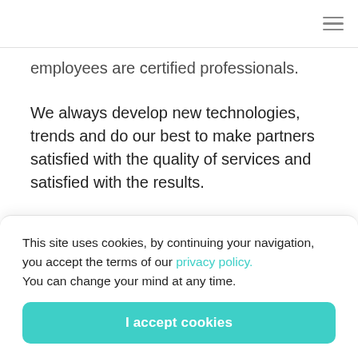≡
employees are certified professionals.
We always develop new technologies, trends and do our best to make partners satisfied with the quality of services and satisfied with the results.
This site uses cookies, by continuing your navigation, you accept the terms of our privacy policy.
You can change your mind at any time.
I accept cookies